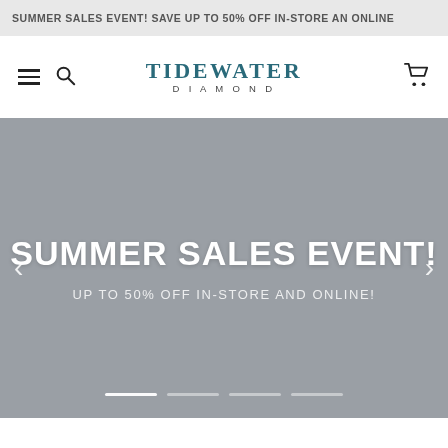SUMMER SALES EVENT! SAVE UP TO 50% OFF IN-STORE AN ONLINE
[Figure (logo): Tidewater Diamond jeweler logo with hamburger menu, search icon, and shopping cart icons in navigation bar]
[Figure (infographic): Hero banner slider with gray background showing 'SUMMER SALES EVENT!' heading and 'UP TO 50% OFF IN-STORE AND ONLINE!' subheading, with left/right arrows and four slide indicator dots at bottom]